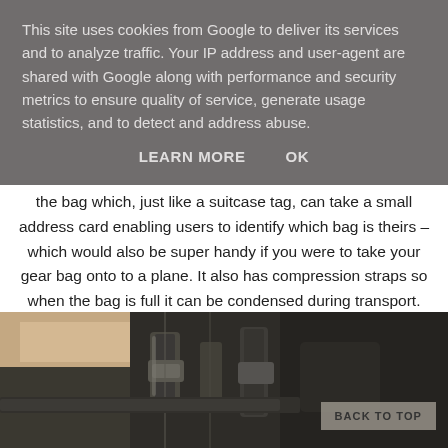This site uses cookies from Google to deliver its services and to analyze traffic. Your IP address and user-agent are shared with Google along with performance and security metrics to ensure quality of service, generate usage statistics, and to detect and address abuse.
LEARN MORE    OK
the bag which, just like a suitcase tag, can take a small address card enabling users to identify which bag is theirs – which would also be super handy if you were to take your gear bag onto to a plane. It also has compression straps so when the bag is full it can be condensed during transport.
[Figure (photo): Close-up photo of a dark/black tactical or gear bag showing straps and compression hardware detail, with a sandy/brick background visible.]
BACK TO TOP